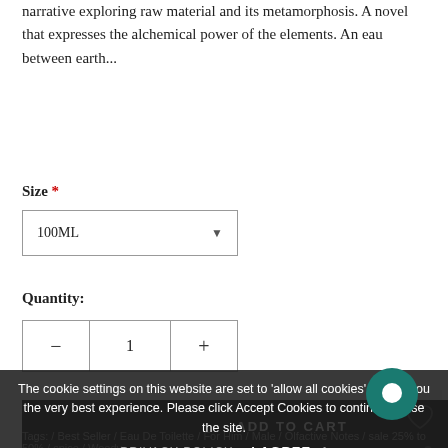narrative exploring raw material and its metamorphosis. A novel that expresses the alchemical power of the elements. An eau between earth...
Size *
100ML
Quantity:
1
ADD TO CART
The cookie settings on this website are set to 'allow all cookies' to give you the very best experience. Please click Accept Cookies to continue to use the site.
PRIVACY POLICY   I AGREE ✔
Tags: / Best Seller / Eau De Toilette / For Him / Male / Olfactive Notes / sale 25% to 50% / spice / Woody